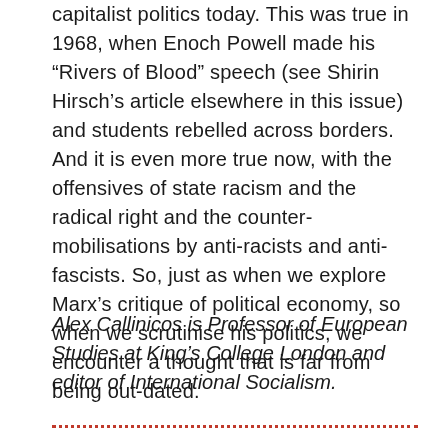capitalist politics today. This was true in 1968, when Enoch Powell made his “Rivers of Blood” speech (see Shirin Hirsch’s article elsewhere in this issue) and students rebelled across borders. And it is even more true now, with the offensives of state racism and the radical right and the counter-mobilisations by anti-racists and anti-fascists. So, just as when we explore Marx’s critique of political economy, so when we scrutinise his politics, we encounter a thought that is far from being out-dated.
Alex Callinicos is Professor of European Studies at King’s College London and editor of International Socialism.